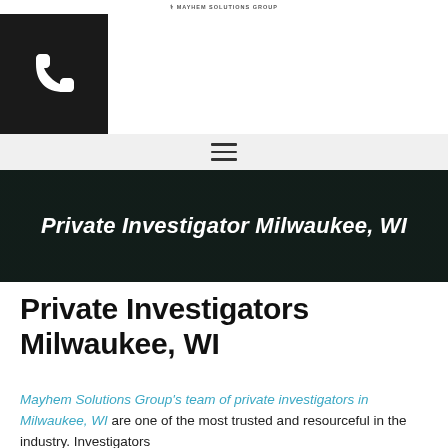MAYHEM SOLUTIONS GROUP
[Figure (logo): Black square box with a white telephone/phone handset icon]
[Figure (other): Hamburger menu icon (three horizontal lines) on a light gray bar]
[Figure (other): Dark hero banner with photographic background showing hands, overlaid with bold italic white text: Private Investigator Milwaukee, WI]
Private Investigators Milwaukee, WI
Mayhem Solutions Group's team of private investigators in Milwaukee, WI are one of the most trusted and resourceful in the industry. Investigators